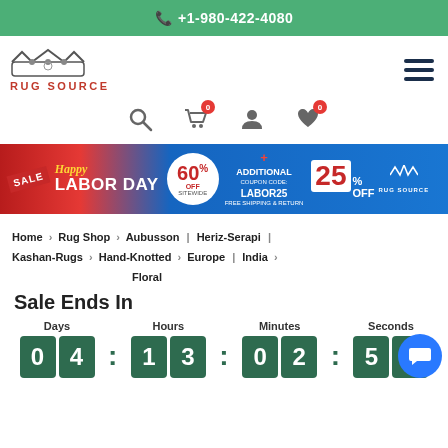+1-980-422-4080
[Figure (logo): Rug Source logo with crown and red text]
[Figure (infographic): Happy Labor Day Sale banner: 60% OFF Sitewide, Additional 25% OFF with coupon code LABOR25, Free Shipping & Return]
Home > Rug Shop > Aubusson | Heriz-Serapi | Kashan-Rugs > Hand-Knotted > Europe | India > Floral
Sale Ends In
Days: 04 | Hours: 13 | Minutes: 02 | Seconds: 59